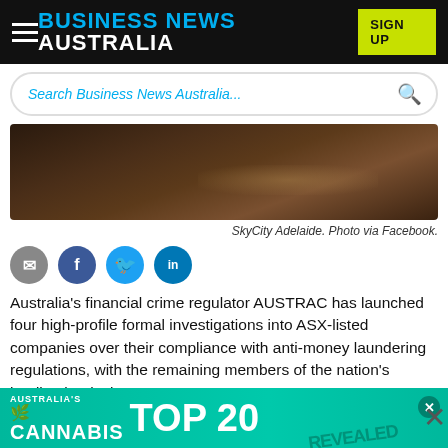BUSINESS NEWS AUSTRALIA
Search Business News Australia...
[Figure (photo): Dark blurred interior photo of SkyCity Adelaide casino]
SkyCity Adelaide. Photo via Facebook.
[Figure (infographic): Social sharing icons: email, Facebook, Twitter, LinkedIn]
Australia's financial crime regulator AUSTRAC has launched four high-profile formal investigations into ASX-listed companies over their compliance with anti-money laundering regulations, with the remaining members of the nation's leading banks b...
[Figure (infographic): Advertisement banner: Australia's Cannabis TOP 20 REVEALED]